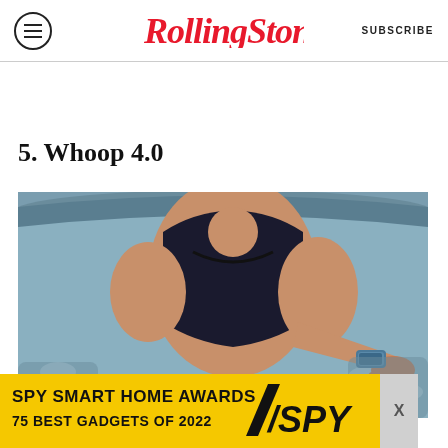Rolling Stone | SUBSCRIBE
5. Whoop 4.0
[Figure (photo): Woman in black sports bra sitting in an ice bath tub, wearing a Whoop 4.0 fitness tracker on her wrist]
[Figure (infographic): SPY Smart Home Awards advertisement banner — yellow background with text: SPY SMART HOME AWARDS / 75 BEST GADGETS OF 2022 and SPY logo]